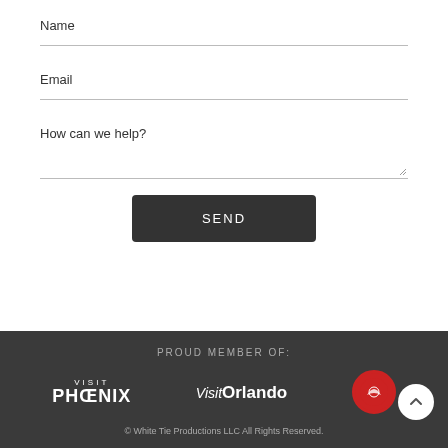Name
Email
How can we help?
SEND
PROUD MEMBER OF:
[Figure (logo): Visit Phoenix logo in white text on dark background]
[Figure (logo): Visit Orlando logo in white text on dark background]
[Figure (logo): Red circular surf club badge logo]
© White Tie Productions LLC All Rights Reserved.